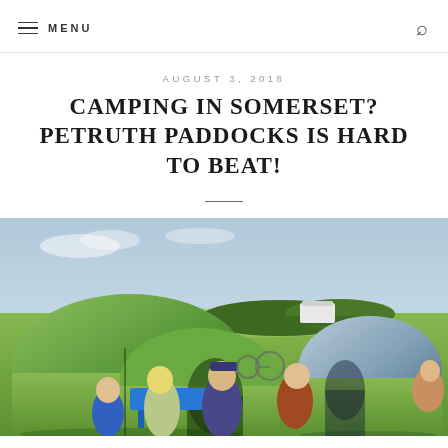MENU
AUGUST 3, 2018
CAMPING IN SOMERSET? PETRUTH PADDOCKS IS HARD TO BEAT!
[Figure (photo): Outdoor camping scene showing a large green family tent on the left and a smaller grey/blue dome tent on the right, with several people sitting around a blue picnic table in the foreground, set in a green field with hedgerows and trees in the background under a pale blue sky.]